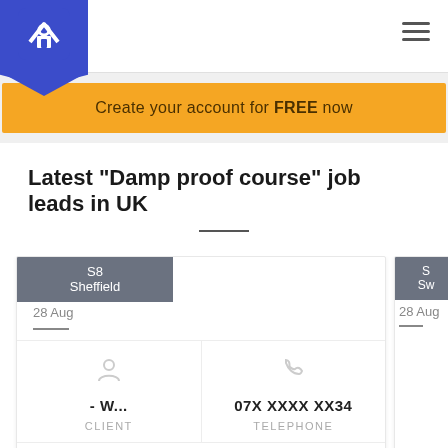Quotatis
Create your account for FREE now
Latest "Damp proof course" job leads in UK
S8
Sheffield
28 Aug
- W...
CLIENT
07X XXXX XX34
TELEPHONE
Hello I've just had a survey done on the
S
Sw
28 Aug